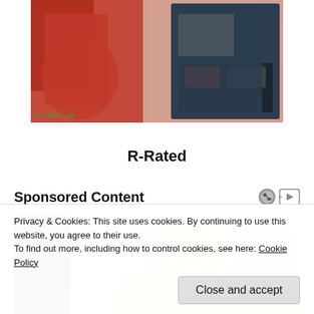[Figure (photo): Partial photo at top showing a person in red clothing holding or working with a black item, cropped at top]
R-Rated
Sponsored Content
[Figure (photo): Photo of a blonde woman in a yellow knitted sweater looking downward, with plants and furniture in background]
Privacy & Cookies: This site uses cookies. By continuing to use this website, you agree to their use.
To find out more, including how to control cookies, see here: Cookie Policy
Close and accept